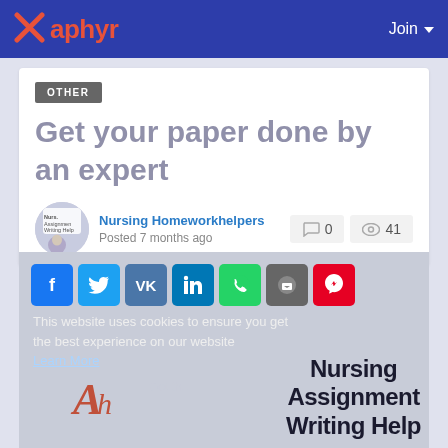Xaphyr  Join
OTHER
Get your paper done by an expert
Nursing Homeworkhelpers
Posted 7 months ago
0  41
[Figure (screenshot): Social share buttons row: Facebook, Twitter, VK, LinkedIn, WhatsApp, Telegram, Pinterest. Below: cookie notice overlay reading 'This website uses cookies to ensure you get the best experience on our website', with 'Learn More' link. Bottom right shows 'Nursing Assignment Writing Help' text. Bottom left shows Ah logo.]